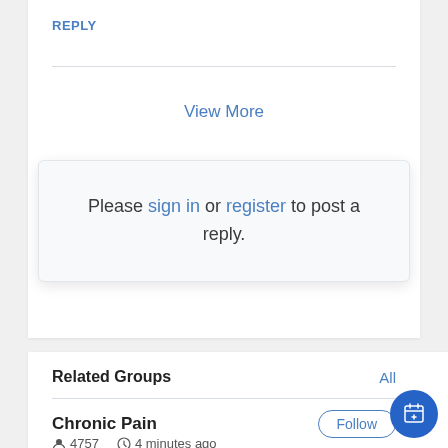REPLY
View More
Please sign in or register to post a reply.
Related Groups
All
Chronic Pain
Follow
4757   4 minutes ago